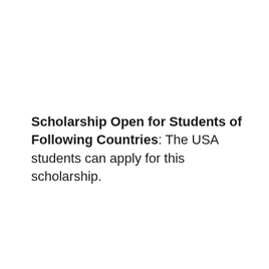Scholarship Open for Students of Following Countries: The USA students can apply for this scholarship.